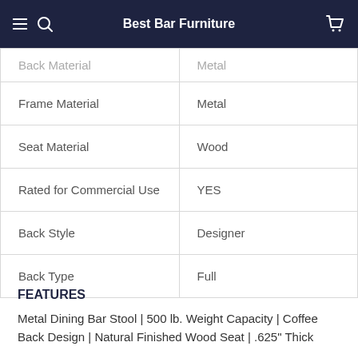Best Bar Furniture
| Attribute | Value |
| --- | --- |
| Back Material | Metal |
| Frame Material | Metal |
| Seat Material | Wood |
| Rated for Commercial Use | YES |
| Back Style | Designer |
| Back Type | Full |
FEATURES
Metal Dining Bar Stool | 500 lb. Weight Capacity | Coffee Back Design | Natural Finished Wood Seat | .625" Thick